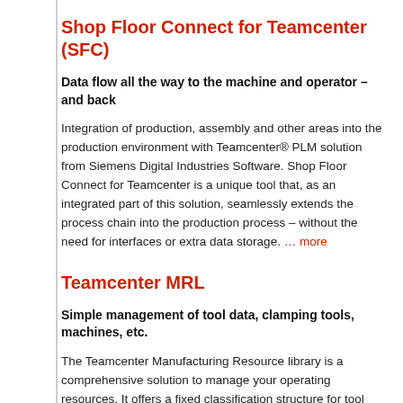Shop Floor Connect for Teamcenter (SFC)
Data flow all the way to the machine and operator – and back
Integration of production, assembly and other areas into the production environment with Teamcenter® PLM solution from Siemens Digital Industries Software. Shop Floor Connect for Teamcenter is a unique tool that, as an integrated part of this solution, seamlessly extends the process chain into the production process – without the need for interfaces or extra data storage. … more
Teamcenter MRL
Simple management of tool data, clamping tools, machines, etc.
The Teamcenter Manufacturing Resource library is a comprehensive solution to manage your operating resources. It offers a fixed classification structure for tool components and complete tools on the basis of DIN 4003/ISO 13399 and for technology data … more